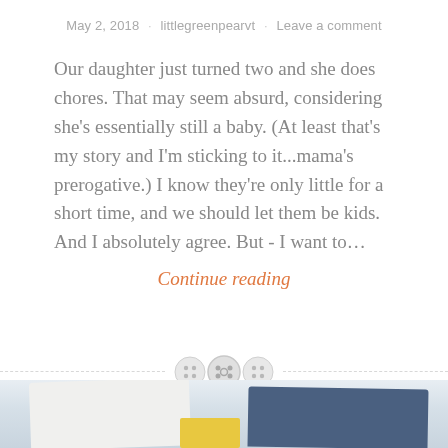May 2, 2018 · littlegreenpearvt · Leave a comment
Our daughter just turned two and she does chores. That may seem absurd, considering she's essentially still a baby. (At least that's my story and I'm sticking to it...mama's prerogative.) I know they're only little for a short time, and we should let them be kids. And I absolutely agree. But - I want to...
Continue reading
[Figure (illustration): Decorative divider with three button icons and dashed lines on either side]
[Figure (photo): Partial photograph showing fabric or clothing items including white fabric, denim, and a yellow element at the bottom of the page]